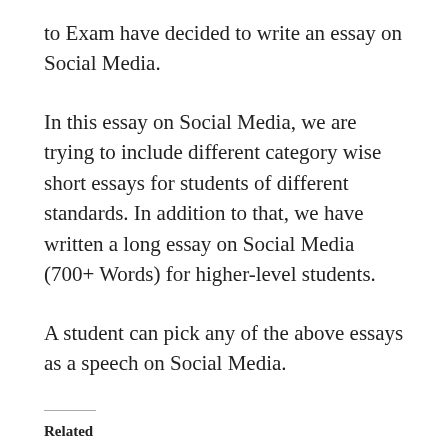to Exam have decided to write an essay on Social Media.
In this essay on Social Media, we are trying to include different category wise short essays for students of different standards. In addition to that, we have written a long essay on Social Media (700+ Words) for higher-level students.
A student can pick any of the above essays as a speech on Social Media.
Related